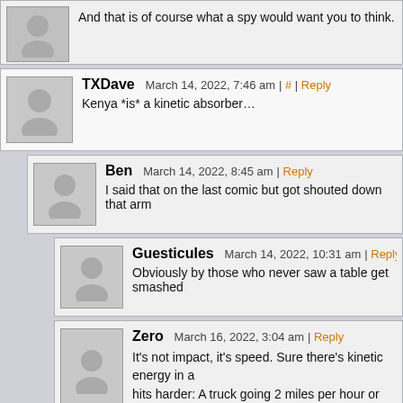And that is of course what a spy would want you to think.
TXDave  March 14, 2022, 7:46 am | # | Reply
Kenya *is* a kinetic absorber…
Ben  March 14, 2022, 8:45 am | Reply
I said that on the last comic but got shouted down that arm
Guesticules  March 14, 2022, 10:31 am | Reply
Obviously by those who never saw a table get smashed
Zero  March 16, 2022, 3:04 am | Reply
It's not impact, it's speed. Sure there's kinetic energy in a hits harder: A truck going 2 miles per hour or 60? She's g seems like a good sport and has the muscle to do this wi
Black Rose  March 14, 2022, 7:56 am | # | Reply
Can't wait to see what Deus' presentation is…!